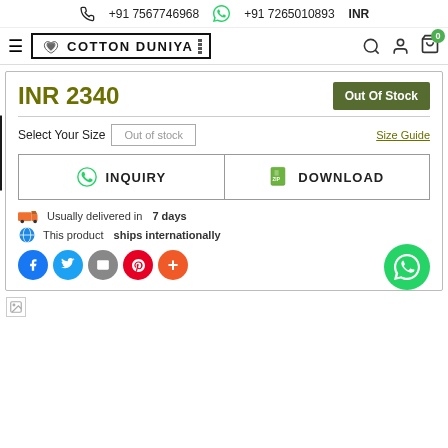+91 7567746968   +91 7265010893   INR
[Figure (logo): Cotton Duniya logo with navigation bar icons including hamburger menu, search, user, and cart with badge 0]
INR 2340
Out Of Stock
Select Your Size   Out of stock   Size Guide
INQUIRY
DOWNLOAD
Usually delivered in 7 days
This product ships internationally
[Figure (infographic): Social sharing icons: Facebook, Twitter, Email, Pinterest, Plus; WhatsApp floating button on right]